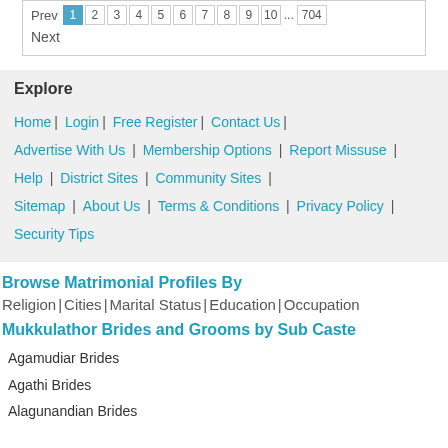Prev 1 2 3 4 5 6 7 8 9 10 ... 704
Next
Explore
Home | Login | Free Register | Contact Us | Advertise With Us | Membership Options | Report Missuse | Help | District Sites | Community Sites | Sitemap | About Us | Terms & Conditions | Privacy Policy | Security Tips
Browse Matrimonial Profiles By
Religion | Cities | Marital Status | Education | Occupation
Mukkulathor Brides and Grooms by Sub Caste
Agamudiar Brides
Agathi Brides
Alagunandian Brides